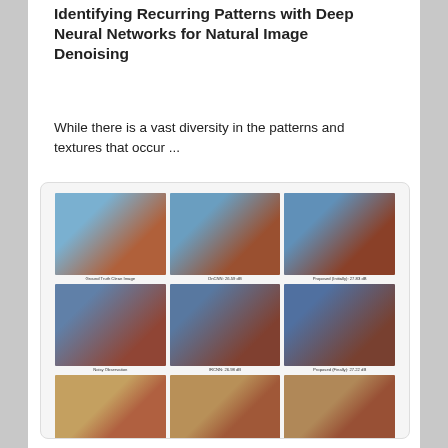Identifying Recurring Patterns with Deep Neural Networks for Natural Image Denoising
While there is a vast diversity in the patterns and textures that occur ...
[Figure (illustration): Grid of image crops showing denoising results. Three columns (Ground Truth Clean Image, DnCNN/IRCNN results, Proposed/Proposed Finally results) and six rows of image pairs with captions showing PSNR dB values. Images include landscape with flag, portrait with colorful headdress, and savanna scenes.]
Figure 5: Example Crops of Images Denoised by σ = 750 by Various Methods. We find the results from the local phase information algorithms—based on adapting recurring patterns in the same image—to have higher quality and more importantly stable. All results from CBMD2. The refinement step improves these results by removing artifacts noisy level attrition, yielding state-of-the-art performance.
After testing images, we consider the matching scores predicted by our network. We show the average matching score across all sub-tasks, as well as average weights corresponding to combinations of the same versus same input, we note channels and connections, and a